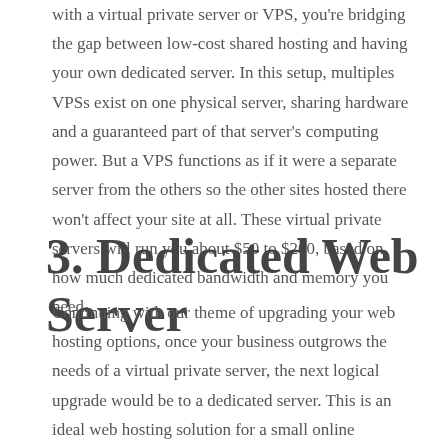with a virtual private server or VPS, you're bridging the gap between low-cost shared hosting and having your own dedicated server. In this setup, multiples VPSs exist on one physical server, sharing hardware and a guaranteed part of that server's computing power. But a VPS functions as if it were a separate server from the others so the other sites hosted there won't affect your site at all. These virtual private servers will run you about $50 to $200, based on how much dedicated bandwidth and memory you need.
3. Dedicated Web Server
Continuing with our theme of upgrading your web hosting options, once your business outgrows the needs of a virtual private server, the next logical upgrade would be to a dedicated server. This is an ideal web hosting solution for a small online business because it offers you maximum flexibility. In this solution, you get your own physical server, just for your website, over which you have total control. And there are no other websites on the server that can affect your site by slowing it down. You get the speed and security